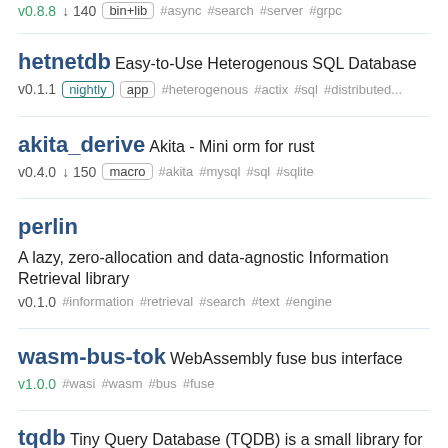v0.8.8  ↓140  bin+lib  #async  #search  #server  #grpc
hetnetdb  Easy-to-Use Heterogenous SQL Database
v0.1.1  nightly  app  #heterogenous  #actix  #sql  #distributed...
akita_derive  Akita - Mini orm for rust
v0.4.0  ↓150  macro  #akita  #mysql  #sql  #sqlite
perlin  A lazy, zero-allocation and data-agnostic Information Retrieval library
v0.1.0  #information  #retrieval  #search  #text  #engine
wasm-bus-tok  WebAssembly fuse bus interface
v1.0.0  #wasi  #wasm  #bus  #fuse
tqdb  Tiny Query Database (TQDB) is a small library for creating a query-able database that is encoded with json